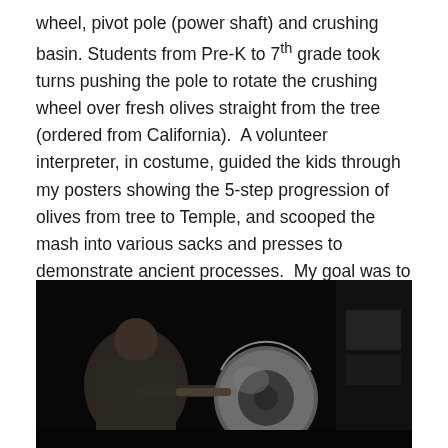wheel, pivot pole (power shaft) and crushing basin. Students from Pre-K to 7th grade took turns pushing the pole to rotate the crushing wheel over fresh olives straight from the tree (ordered from California). A volunteer interpreter, in costume, guided the kids through my posters showing the 5-step progression of olives from tree to Temple, and scooped the mash into various sacks and presses to demonstrate ancient processes. My goal was to give students a hands-on reference point to the “miracle of the oil” and deepen their understanding of a holiday most families observe with chanukiyot that use wax candles.
[Figure (photo): Dark photograph showing a person in costume operating what appears to be a large stone crushing wheel in a dimly lit setting.]